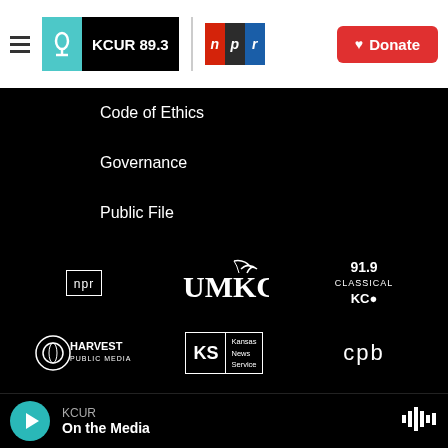KCUR 89.3 | NPR | Donate
Code of Ethics
Governance
Public File
Privacy Policy
[Figure (logo): NPR logo (small outlined box)]
[Figure (logo): UMKC logo with stylized lettering]
[Figure (logo): 91.9 Classical KC logo]
[Figure (logo): Harvest Public Media logo]
[Figure (logo): Kansas News Service logo in box]
[Figure (logo): cpb (Corporation for Public Broadcasting) logo]
KCUR — On the Media